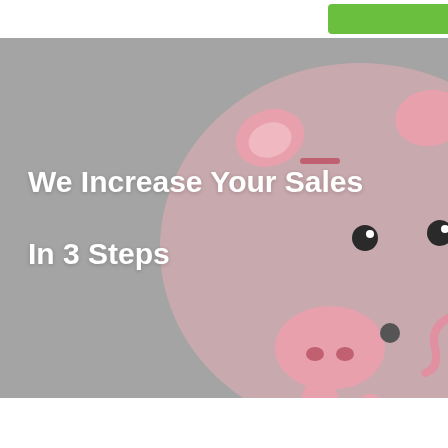[Figure (illustration): A pink piggy bank on a grey background, partially visible on the right side of the image, with two dark eyes visible.]
We Increase Your Sales

In 3 Steps